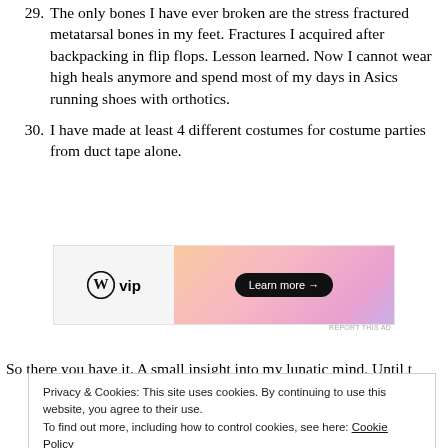29. The only bones I have ever broken are the stress fractured metatarsal bones in my feet. Fractures I acquired after backpacking in flip flops. Lesson learned. Now I cannot wear high heals anymore and spend most of my days in Asics running shoes with orthotics.
30. I have made at least 4 different costumes for costume parties from duct tape alone.
[Figure (other): WordPress VIP advertisement banner with gradient orange-pink background and 'Learn more →' button]
So there you have it. A small insight into my lunatic mind. Until t
Privacy & Cookies: This site uses cookies. By continuing to use this website, you agree to their use.
To find out more, including how to control cookies, see here: Cookie Policy
Close and accept
Build a writing